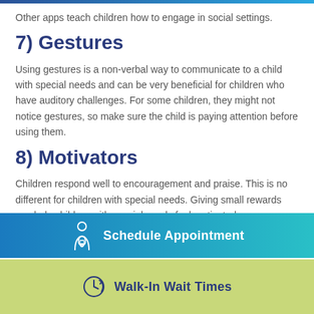Other apps teach children how to engage in social settings.
7) Gestures
Using gestures is a non-verbal way to communicate to a child with special needs and can be very beneficial for children who have auditory challenges. For some children, they might not notice gestures, so make sure the child is paying attention before using them.
8) Motivators
Children respond well to encouragement and praise. This is no different for children with special needs. Giving small rewards can help children with special needs feel motivated
[Figure (infographic): Schedule Appointment button with doctor icon on teal/blue gradient background]
[Figure (infographic): Walk-In Wait Times button with clock icon on yellow-green background]